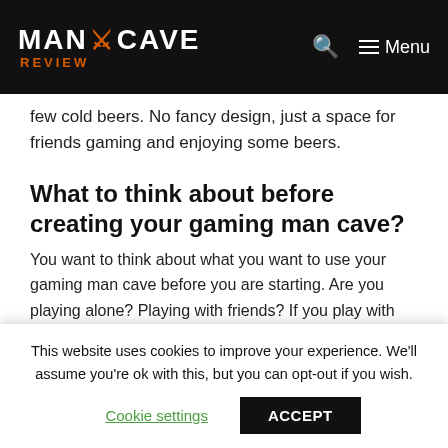MAN CAVE REVIEW — Menu
few cold beers. No fancy design, just a space for friends gaming and enjoying some beers.
What to think about before creating your gaming man cave?
You want to think about what you want to use your gaming man cave before you are starting. Are you playing alone? Playing with friends? If you play with
This website uses cookies to improve your experience. We'll assume you're ok with this, but you can opt-out if you wish.
Cookie settings   ACCEPT